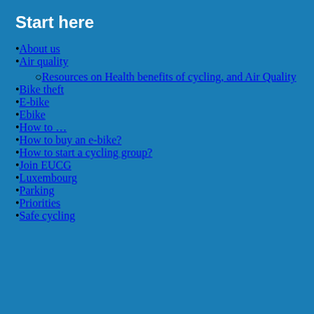Start here
About us
Air quality
Resources on Health benefits of cycling, and Air Quality
Bike theft
E-bike
Ebike
How to …
How to buy an e-bike?
How to start a cycling group?
Join EUCG
Luxembourg
Parking
Priorities
Safe cycling